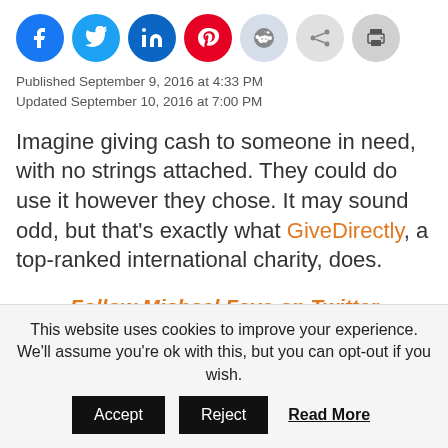[Figure (other): Row of social sharing icon buttons: Facebook (blue), Twitter (light blue), LinkedIn (dark blue), Pinterest (red), Reddit (light gray), Share (gray), Print (gray)]
Published September 9, 2016 at 4:33 PM
Updated September 10, 2016 at 7:00 PM
Imagine giving cash to someone in need, with no strings attached. They could do use it however they chose. It may sound odd, but that's exactly what GiveDirectly, a top-ranked international charity, does.
Follow Michael Faye on Twitter @MichaelFaye
Michael Faye is the co-founder and executive chairman of GiveDirectly.
This website uses cookies to improve your experience. We'll assume you're ok with this, but you can opt-out if you wish.